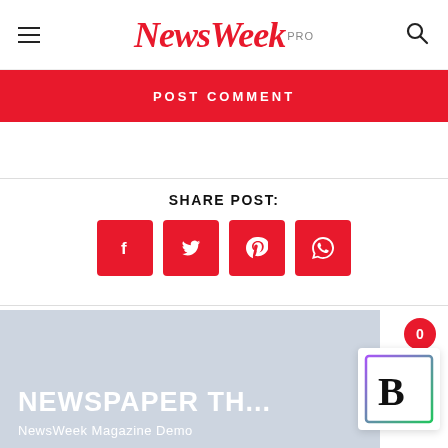NewsWeek PRO
POST COMMENT
SHARE POST:
[Figure (illustration): Four red square social share buttons: Facebook (f), Twitter (bird), Pinterest (p), WhatsApp (phone)]
[Figure (photo): Light blue-gray promo banner with text: NEWSPAPER TH... and NewsWeek Magazine Demo, with a B logo overlay and notification badge showing 0]